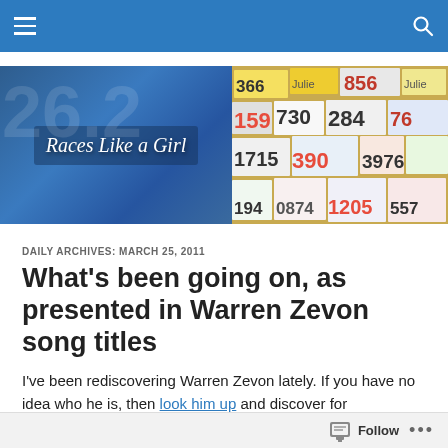Navigation bar with hamburger menu and search icon
[Figure (illustration): Blog header banner for 'Races Like a Girl' – left side shows blue textured background with cursive white blog title text, right side shows colorful race bib numbers including 366, 856, 159, 730, 1715, 284, 76, 3976, 390, 194, 0874, 1205, 557, 60]
DAILY ARCHIVES: MARCH 25, 2011
What's been going on, as presented in Warren Zevon song titles
I've been rediscovering Warren Zevon lately. If you have no idea who he is, then look him up and discover for
Follow  •••